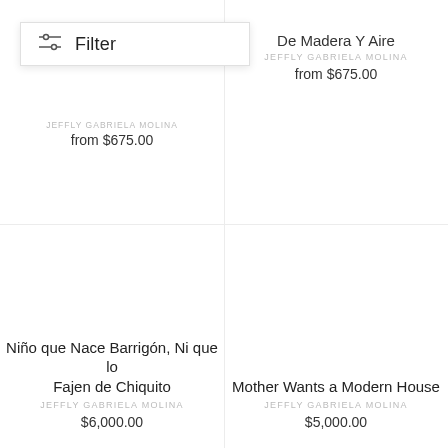[Figure (screenshot): Filter dropdown UI overlay with sliders icon and 'Filter' label]
JEFFLY GABRIELA MOLINA
from $675.00
De Madera Y Aire
JEFFLY GABRIELA MOLINA
from $675.00
Niño que Nace Barrigón, Ni que lo Fajen de Chiquito
JEFFLY GABRIELA MOLINA
$6,000.00
Mother Wants a Modern House
JEFFLY GABRIELA MOLINA
$5,000.00